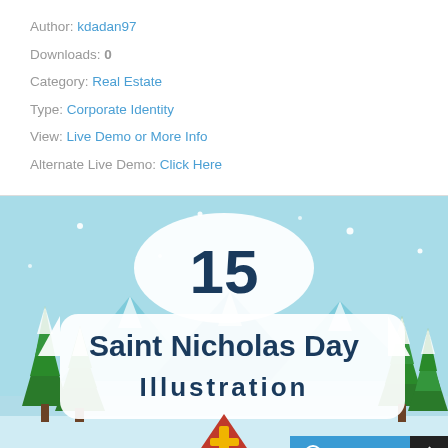Author: kdadan97
Downloads: 0
Category: Real Estate
Type: Corporate Identity
View: Live Demo or More Info
Alternate Live Demo: Click Here
[Figure (illustration): 15 Saint Nicholas Day Illustration graphic showing number 15 in large font, text 'Saint Nicholas Day Illustration' on white banner background, with snow, trees, mountains, and a bishop's mitre with cross at bottom. Live Chat button and arrow button at bottom right.]